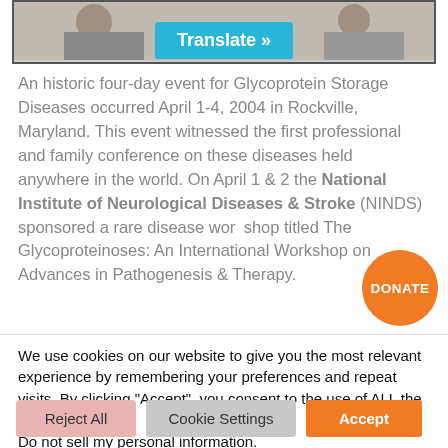[Figure (photo): Partial screenshot of a webpage with a photo banner at the top and a teal/cyan 'Translate »' button overlaid on it.]
An historic four-day event for Glycoprotein Storage Diseases occurred April 1-4, 2004 in Rockville, Maryland. This event witnessed the first professional and family conference on these diseases held anywhere in the world. On April 1 & 2 the National Institute of Neurological Diseases & Stroke (NINDS) sponsored a rare disease workshop titled The Glycoproteinoses: An International Workshop on Advances in Pathogenesis & Therapy.
[Figure (other): Orange circular DONATE button overlaid on text.]
We use cookies on our website to give you the most relevant experience by remembering your preferences and repeat visits. By clicking "Accept", you consent to the use of ALL the cookies. Do not sell my personal information.